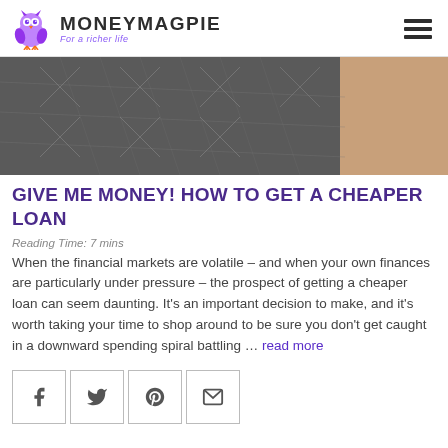MONEYMAGPIE — For a richer life
[Figure (photo): Close-up photo of textured dark grey fabric/clothing with a beige/tan background on the right side]
GIVE ME MONEY! HOW TO GET A CHEAPER LOAN
Reading Time: 7 mins
When the financial markets are volatile – and when your own finances are particularly under pressure – the prospect of getting a cheaper loan can seem daunting. It's an important decision to make, and it's worth taking your time to shop around to be sure you don't get caught in a downward spending spiral battling … read more